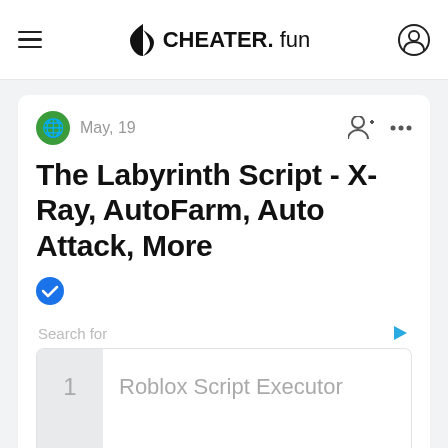CHEATER. fun
May, 19
The Labyrinth Script - X-Ray, AutoFarm, Auto Attack, More
Search for
1  Roblox Script Executor